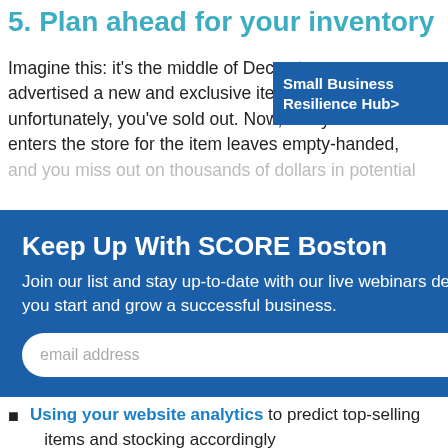5. Plan ahead for your inventory
Imagine this: it's the middle of December, you've advertised a new and exclusive item, but unfortunately, you've sold out. Now, everyone who enters the store for the item leaves empty-handed, and you miss out on thousands of dollars in potential
[Figure (screenshot): Dark blue 'Small Business Resilience Hub>' button/badge in top right corner]
[Figure (screenshot): Modal popup with title 'Keep Up With SCORE Boston', body text 'Join our list and stay up-to-date with our live webinars designed to help you start and grow a successful business.', email input field and SUBMIT button, close X button in top right]
retailers can overwhelm your stockists
Planning for shipping delays
Using your website analytics to predict top-selling items and stocking accordingly